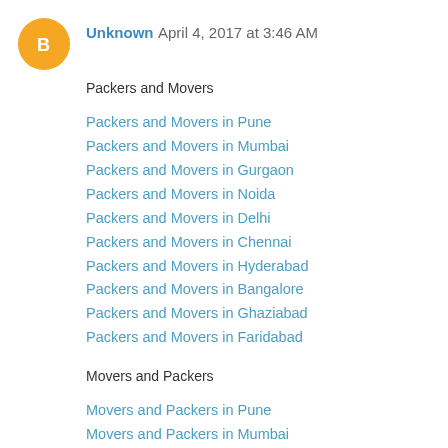Unknown  April 4, 2017 at 3:46 AM
Packers and Movers
Packers and Movers in Pune
Packers and Movers in Mumbai
Packers and Movers in Gurgaon
Packers and Movers in Noida
Packers and Movers in Delhi
Packers and Movers in Chennai
Packers and Movers in Hyderabad
Packers and Movers in Bangalore
Packers and Movers in Ghaziabad
Packers and Movers in Faridabad
Movers and Packers
Movers and Packers in Pune
Movers and Packers in Mumbai
Movers and Packers in Gurgaon
Movers and Packers in Noida
Movers and Packers in Delhi
Movers and Packers in Chennai